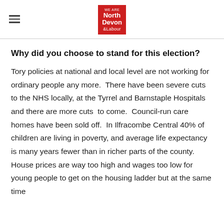We Are North Devon & Labour
Why did you choose to stand for this election?
Tory policies at national and local level are not working for ordinary people any more.  There have been severe cuts to the NHS locally, at the Tyrrel and Barnstaple Hospitals and there are more cuts  to come.  Council-run care homes have been sold off.  In Ilfracombe Central 40% of children are living in poverty, and average life expectancy is many years fewer than in richer parts of the county.  House prices are way too high and wages too low for young people to get on the housing ladder but at the same time